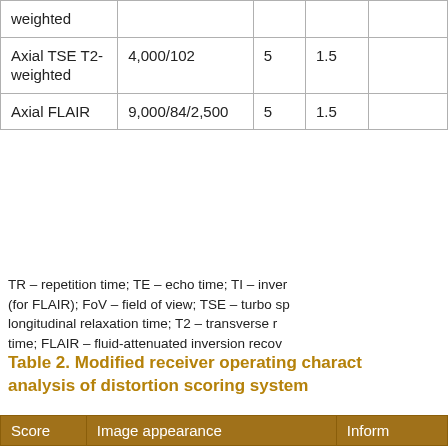|  | TR/TE/TI (ms) | Slice thickness (mm) | FoV (cm) | ... |
| --- | --- | --- | --- | --- |
| weighted |  |  |  |  |
| Axial TSE T2-weighted | 4,000/102 | 5 | 1.5 | ... |
| Axial FLAIR | 9,000/84/2,500 | 5 | 1.5 | ... |
TR – repetition time; TE – echo time; TI – inversion time (for FLAIR); FoV – field of view; TSE – turbo spin echo; T1 – longitudinal relaxation time; T2 – transverse relaxation time; FLAIR – fluid-attenuated inversion recovery
Table 2. Modified receiver operating characteristics analysis of distortion scoring system
| Score | Image appearance | Inform... |
| --- | --- | --- |